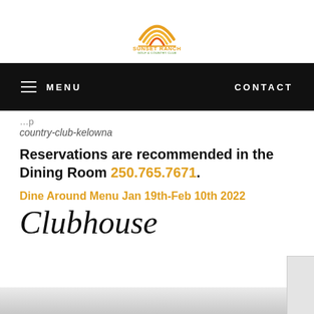[Figure (logo): Sunset Ranch Golf & Country Club logo with orange/yellow arc sunrise graphic and green text]
MENU   CONTACT
country-club-kelowna
Reservations are recommended in the Dining Room 250.765.7671.
Dine Around Menu Jan 19th-Feb 10th 2022
Clubhouse